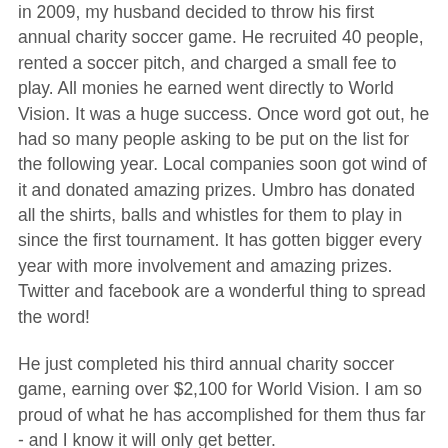in 2009, my husband decided to throw his first annual charity soccer game. He recruited 40 people, rented a soccer pitch, and charged a small fee to play. All monies he earned went directly to World Vision. It was a huge success. Once word got out, he had so many people asking to be put on the list for the following year. Local companies soon got wind of it and donated amazing prizes. Umbro has donated all the shirts, balls and whistles for them to play in since the first tournament. It has gotten bigger every year with more involvement and amazing prizes. Twitter and facebook are a wonderful thing to spread the word!
He just completed his third annual charity soccer game, earning over $2,100 for World Vision. I am so proud of what he has accomplished for them thus far - and I know it will only get better.
If you have $35 a month, I implore you to think about sponsoring a child. You will change the life a precious child forever.
It will also change you in ways you never thought possible.